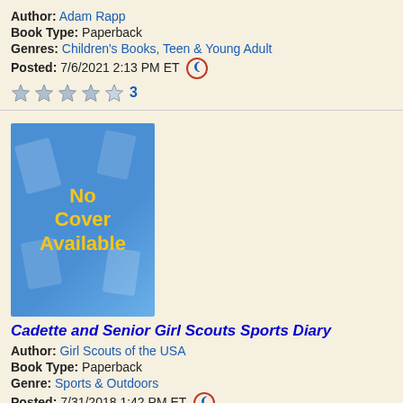Author: Adam Rapp
Book Type: Paperback
Genres: Children's Books, Teen & Young Adult
Posted: 7/6/2021 2:13 PM ET
3
[Figure (illustration): No Cover Available placeholder image - blue gradient background with book icons, yellow text]
Cadette and Senior Girl Scouts Sports Diary
Author: Girl Scouts of the USA
Book Type: Paperback
Genre: Sports & Outdoors
Posted: 7/31/2018 1:42 PM ET
?
[Figure (illustration): Purple book cover with KATHRYN LASKY author text]